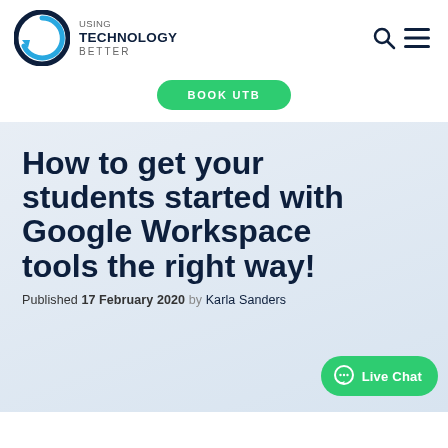[Figure (logo): Using Technology Better logo with circular arrow icon in dark navy and blue, followed by text 'USING TECHNOLOGY BETTER']
[Figure (other): Search (magnifying glass) and hamburger menu icons in top right]
BOOK UTB
How to get your students started with Google Workspace tools the right way!
Published 17 February 2020  by  Karla Sanders
[Figure (other): Live Chat button (green pill-shaped button with chat icon)]